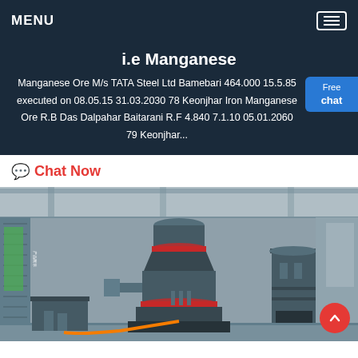MENU
i.e Manganese
Manganese Ore M/s TATA Steel Ltd Bamebari 464.000 15.5.85 executed on 08.05.15 31.03.2030 78 Keonjhar Iron Manganese Ore R.B Das Dalpahar Baitarani R.F 4.840 7.1.10 05.01.2060 79 Keonjhar...
Free chat
Chat Now
[Figure (photo): Industrial grinding/milling machine in a factory workshop, large grey cylindrical mill with red accent rings, photographed indoors]